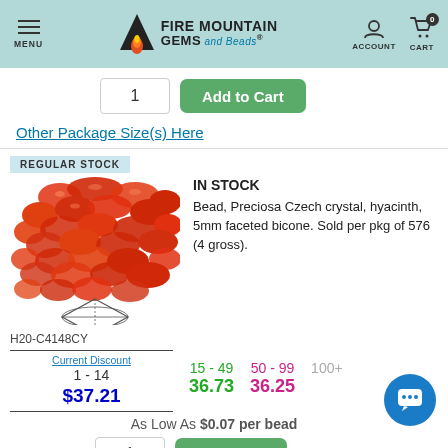Fire Mountain Gems and Beads — MENU | ACCOUNT | CART 0
1  Add to Cart
Other Package Size(s) Here
REGULAR STOCK
IN STOCK
Bead, Preciosa Czech crystal, hyacinth, 5mm faceted bicone. Sold per pkg of 576 (4 gross).
[Figure (photo): Photo of red/orange faceted bicone crystal beads (hyacinth color) with a line-art bicone diagram below]
H20-C4148CY
| Current Discount | 1 - 14 | $37.21 | 15 - 49 | 36.73 | 50 - 99 | 36.25 | 100+ |
| --- | --- | --- | --- | --- | --- | --- | --- |
As Low As $0.07 per bead
1  Add to Cart